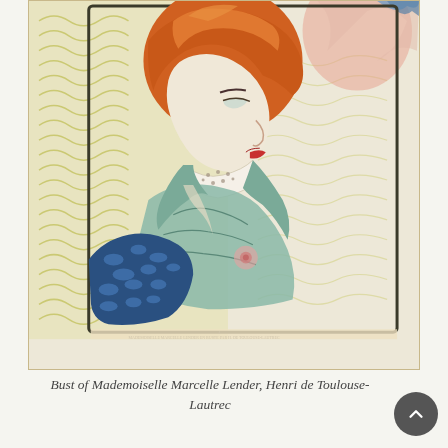[Figure (illustration): Lithograph artwork 'Bust of Mademoiselle Marcelle Lender' by Henri de Toulouse-Lautrec. Shows a woman in profile with red/orange hair, wearing a green ruffled dress with lace collar, against a decorative yellow-green wavy pattern background. Lower left has a dark blue patterned fabric section. Small printed text appears at the bottom of the artwork.]
Bust of Mademoiselle Marcelle Lender, Henri de Toulouse-Lautrec